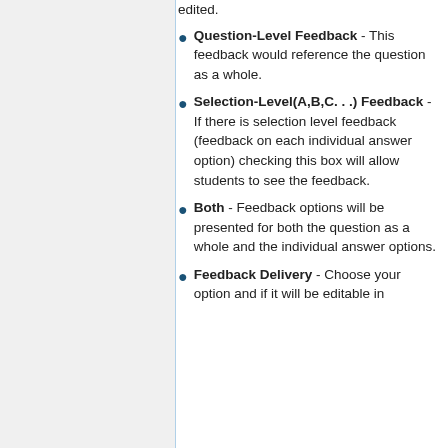edited.
Question-Level Feedback - This feedback would reference the question as a whole.
Selection-Level(A,B,C. . .) Feedback - If there is selection level feedback (feedback on each individual answer option) checking this box will allow students to see the feedback.
Both - Feedback options will be presented for both the question as a whole and the individual answer options.
Feedback Delivery - Choose your option and if it will be editable in